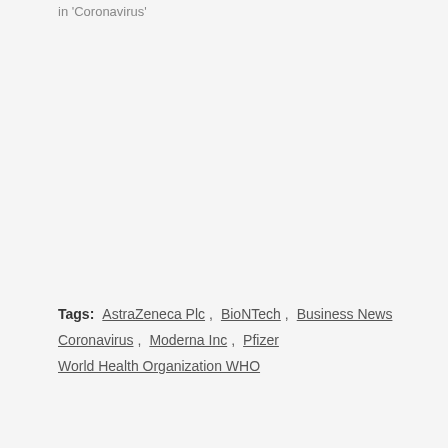in 'Coronavirus'
Tags: AstraZeneca Plc , BioNTech , Business News , Coronavirus , Moderna Inc , Pfizer , World Health Organization WHO